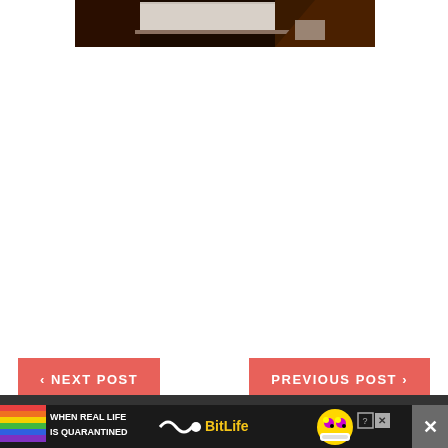[Figure (photo): Dark photo showing what appears to be a door or white frame/panel on a wooden floor, mostly dark background]
‹ NEXT POST
PREVIOUS POST ›
[Figure (infographic): BitLife advertisement banner with rainbow stripes on left, text WHEN REAL LIFE IS QUARANTINED, sperm emoji graphic, BitLife logo in yellow, emoji face with stars for eyes and mask]
[Figure (other): Dark image strip at bottom of page]
✕ close button